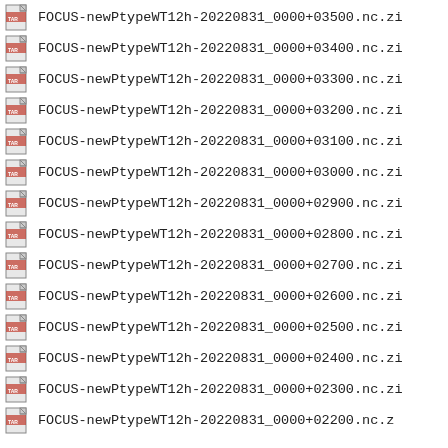FOCUS-newPtypeWT12h-20220831_0000+03500.nc.zi
FOCUS-newPtypeWT12h-20220831_0000+03400.nc.zi
FOCUS-newPtypeWT12h-20220831_0000+03300.nc.zi
FOCUS-newPtypeWT12h-20220831_0000+03200.nc.zi
FOCUS-newPtypeWT12h-20220831_0000+03100.nc.zi
FOCUS-newPtypeWT12h-20220831_0000+03000.nc.zi
FOCUS-newPtypeWT12h-20220831_0000+02900.nc.zi
FOCUS-newPtypeWT12h-20220831_0000+02800.nc.zi
FOCUS-newPtypeWT12h-20220831_0000+02700.nc.zi
FOCUS-newPtypeWT12h-20220831_0000+02600.nc.zi
FOCUS-newPtypeWT12h-20220831_0000+02500.nc.zi
FOCUS-newPtypeWT12h-20220831_0000+02400.nc.zi
FOCUS-newPtypeWT12h-20220831_0000+02300.nc.zi
FOCUS-newPtypeWT12h-20220831_0000+02200.nc.z